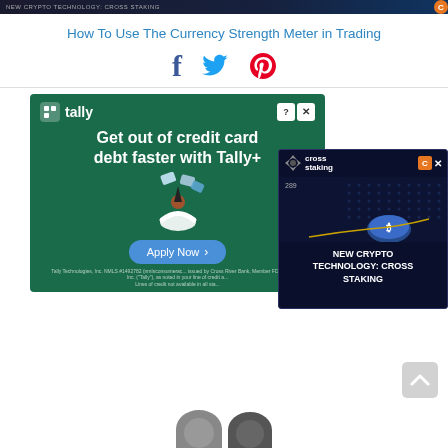NEW CRYPTO TECHNOLOGY: CROSS STAKING
How To Use The Currency Strength Meter in Trading
[Figure (screenshot): Social sharing icons: Facebook (blue f), Twitter (blue bird), Pinterest (red P)]
[Figure (screenshot): Tally advertisement banner: 'Get out of credit card debt faster with Tally+' with Apply Now button and Tally logo. Overlapping Cross Staking crypto ad showing 'NEW CRYPTO TECHNOLOGY: CROSS STAKING' with chart graphic.]
[Figure (photo): Partial view of author avatar/profile photo at bottom of page]